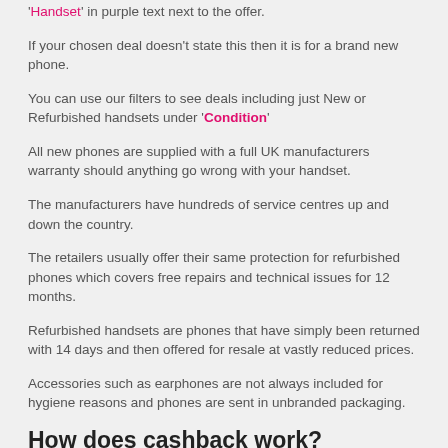'Handset' in purple text next to the offer.
If your chosen deal doesn't state this then it is for a brand new phone.
You can use our filters to see deals including just New or Refurbished handsets under 'Condition'
All new phones are supplied with a full UK manufacturers warranty should anything go wrong with your handset.
The manufacturers have hundreds of service centres up and down the country.
The retailers usually offer their same protection for refurbished phones which covers free repairs and technical issues for 12 months.
Refurbished handsets are phones that have simply been returned with 14 days and then offered for resale at vastly reduced prices.
Accessories such as earphones are not always included for hygiene reasons and phones are sent in unbranded packaging.
How does cashback work?